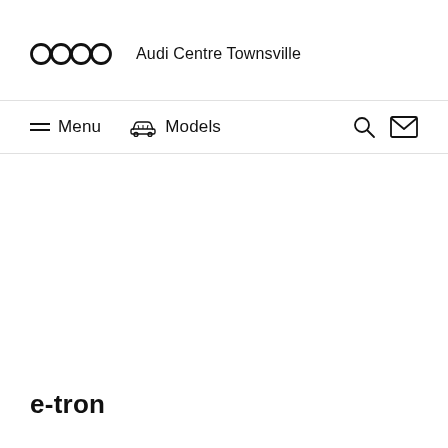[Figure (logo): Audi four-ring logo SVG followed by text 'Audi Centre Townsville']
Menu  Models
e-tron